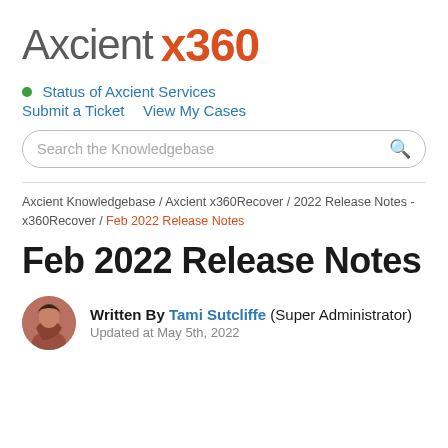[Figure (logo): Axcient x360 logo with 'Axcient' in gray and 'x360' in orange-red]
Status of Axcient Services
Submit a Ticket   View My Cases
[Figure (other): Search the Knowledgebase search bar with rounded border and magnifying glass icon]
Axcient Knowledgebase / Axcient x360Recover / 2022 Release Notes - x360Recover / Feb 2022 Release Notes
Feb 2022 Release Notes
Written By Tami Sutcliffe (Super Administrator)
Updated at May 5th, 2022